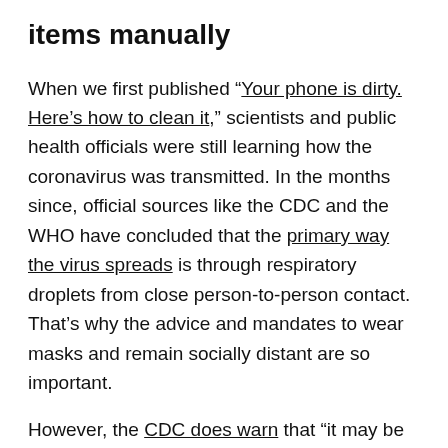items manually
When we first published “Your phone is dirty. Here’s how to clean it,” scientists and public health officials were still learning how the coronavirus was transmitted. In the months since, official sources like the CDC and the WHO have concluded that the primary way the virus spreads is through respiratory droplets from close person-to-person contact. That’s why the advice and mandates to wear masks and remain socially distant are so important.
However, the CDC does warn that “it may be possible that a person can get COVID-19 by touching a surface or object that has the virus on it and then touching their own mouth, nose, or possibly their eyes, but this isn’t thought to be the main way the virus spreads.”